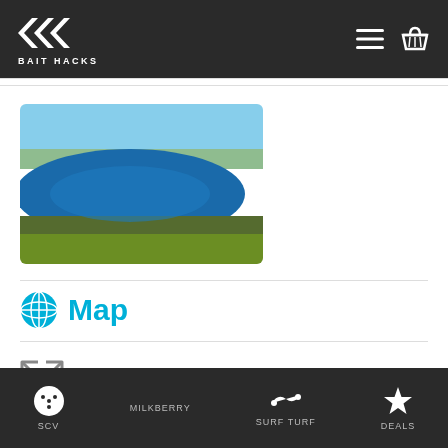BAIT HACKS
[Figure (photo): Aerial view of a lake surrounded by trees and fields]
Map
[Figure (other): Expand/fullscreen icon]
SCV  MILKBERRY  SURF TURF  DEALS